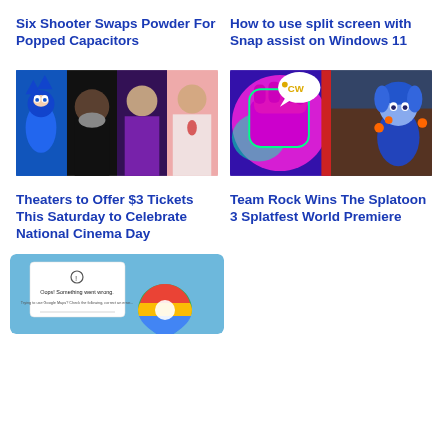Six Shooter Swaps Powder For Popped Capacitors
How to use split screen with Snap assist on Windows 11
[Figure (photo): Collage of movie characters including Sonic the Hedgehog, a bearded man, a woman in purple dress, and a woman in white]
[Figure (photo): Split image: left side shows a neon pink fist with cartoon character speech bubble, right side shows animated blue-haired character]
Theaters to Offer $3 Tickets This Saturday to Celebrate National Cinema Day
Team Rock Wins The Splatoon 3 Splatfest World Premiere
[Figure (screenshot): Light blue background with Google Maps error dialog showing 'Oops! Something went wrong.' message and Google Maps pin logo]